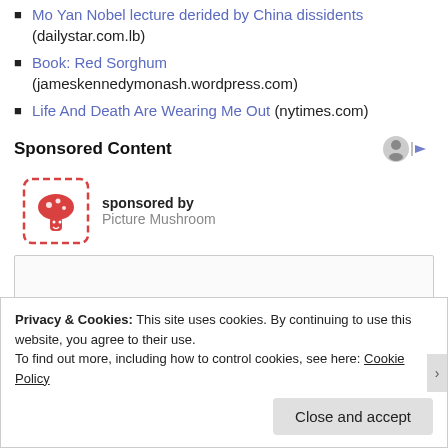Mo Yan Nobel lecture derided by China dissidents (dailystar.com.lb)
Book: Red Sorghum (jameskennedymonash.wordpress.com)
Life And Death Are Wearing Me Out (nytimes.com)
Sponsored Content
sponsored by Picture Mushroom
[Figure (other): Advertisement box placeholder]
Privacy & Cookies: This site uses cookies. By continuing to use this website, you agree to their use. To find out more, including how to control cookies, see here: Cookie Policy
Close and accept